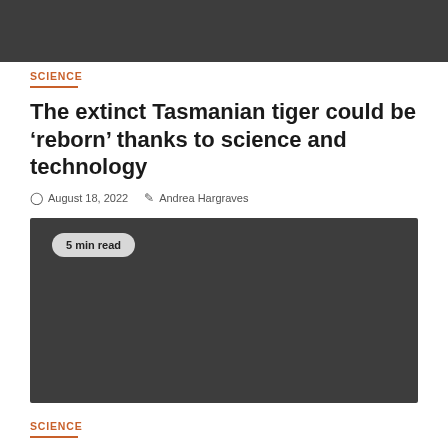[Figure (photo): Dark gray banner at top of page, image placeholder]
SCIENCE
The extinct Tasmanian tiger could be ‘reborn’ thanks to science and technology
August 18, 2022   Andrea Hargraves
[Figure (photo): Dark gray image placeholder block with '5 min read' badge in upper left corner]
SCIENCE